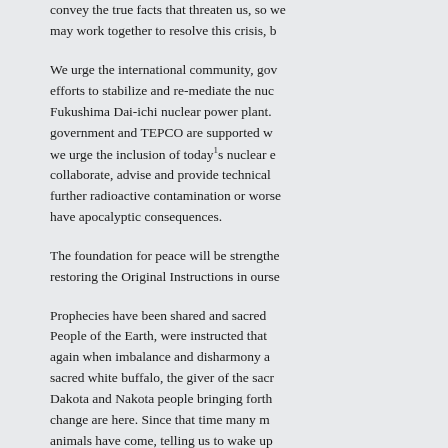convey the true facts that threaten us, so we may work together to resolve this crisis, b
We urge the international community, gov efforts to stabilize and re-mediate the nuc Fukushima Dai-ichi nuclear power plant. government and TEPCO are supported w we urge the inclusion of today¹s nuclear e collaborate, advise and provide technical further radioactive contamination or worse have apocalyptic consequences.
The foundation for peace will be strengthe restoring the Original Instructions in ourse
Prophecies have been shared and sacred People of the Earth, were instructed that again when imbalance and disharmony a sacred white buffalo, the giver of the sacr Dakota and Nakota people bringing forth change are here. Since that time many m animals have come, telling us to wake up is time. So listen for the sacred instructio
All Life is sacred. We come into Life as sa sacredness of Life we affect all Creation